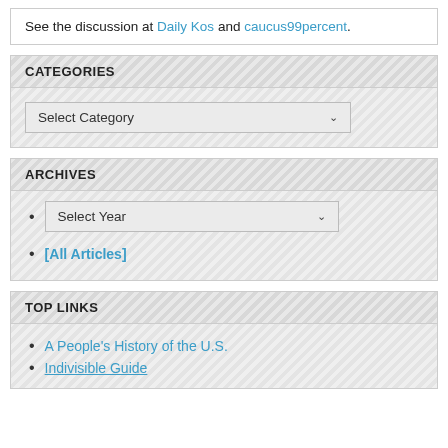See the discussion at Daily Kos and caucus99percent.
CATEGORIES
Select Category (dropdown)
ARCHIVES
Select Year (dropdown)
[All Articles]
TOP LINKS
A People's History of the U.S.
Indivisible Guide